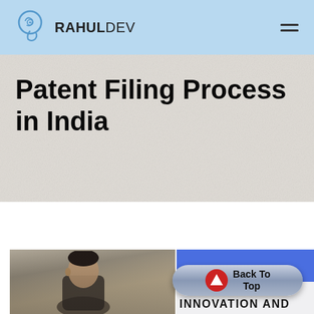RAHULDEV
Patent Filing Process in India
[Figure (photo): Man in foreground with blurred indoor background; overlaid with blue rectangle, a 'Back To Top' button with red arrow icon, and 'INNOVATION AND' text in bold black]
INNOVATION AND